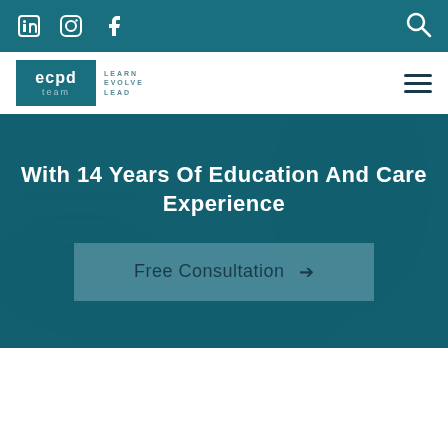Social icons: LinkedIn, Instagram, Facebook | Search icon
[Figure (logo): ECPD Team logo with text: Learn Evolve Lead]
With 14 Years Of Education And Care Experience
Free Consultation →